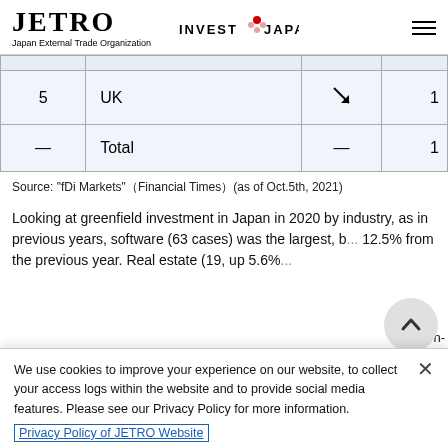[Figure (logo): JETRO logo with 'Japan External Trade Organization' text and 'INVEST JAPAN' text with red cherry blossom icon and hamburger menu]
| Rank | Country | Trend | Count |
| --- | --- | --- | --- |
|  |  |  |  |
| 5 | UK | ↘ | 1 |
| — | Total | — | 1 |
Source: "fDi Markets"（Financial Times）(as of Oct.5th, 2021)
Looking at greenfield investment in Japan in 2020 by industry, as in previous years, software (63 cases) was the largest, b... 12.5% from the previous year. Real estate (19, up 5.6%...
We use cookies to improve your experience on our website, to collect your access logs within the website and to provide social media features. Please see our Privacy Policy for more information.
Privacy Policy of JETRO Website